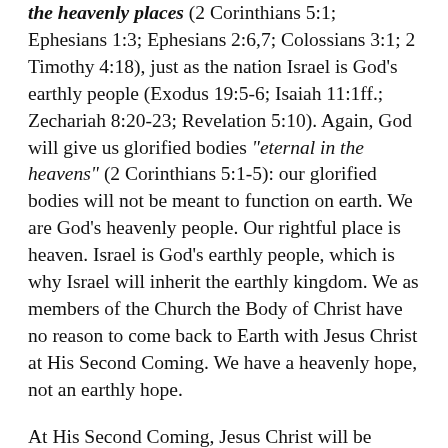the heavenly places (2 Corinthians 5:1; Ephesians 1:3; Ephesians 2:6,7; Colossians 3:1; 2 Timothy 4:18), just as the nation Israel is God's earthly people (Exodus 19:5-6; Isaiah 11:1ff.; Zechariah 8:20-23; Revelation 5:10). Again, God will give us glorified bodies "eternal in the heavens" (2 Corinthians 5:1-5): our glorified bodies will not be meant to function on earth. We are God's heavenly people. Our rightful place is heaven. Israel is God's earthly people, which is why Israel will inherit the earthly kingdom. We as members of the Church the Body of Christ have no reason to come back to Earth with Jesus Christ at His Second Coming. We have a heavenly hope, not an earthly hope.
At His Second Coming, Jesus Christ will be coming for Israel: we have no relation to that event. Jesus Christ's Second Coming is to rescue Israel from the Antichrist and her other enemies. When we